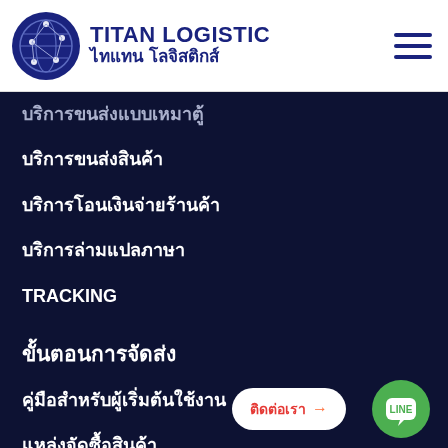[Figure (logo): Titan Logistic logo with globe icon and Thai/English text]
บริการขนส่งแบบเหมาตู้
บริการขนส่งสินค้า
บริการโอนเงินจ่ายร้านค้า
บริการล่ามแปลภาษา
TRACKING
ขั้นตอนการจัดส่ง
คู่มือสำหรับผู้เริ่มต้นใช้งาน
แหล่งจัดซื้อสินค้า
การดูแลและปกป้องสินค้า
ขั้นตอนการเตรียมสินค้าขึ้นเรือ
การนำส่งสินค้าทางเรือ